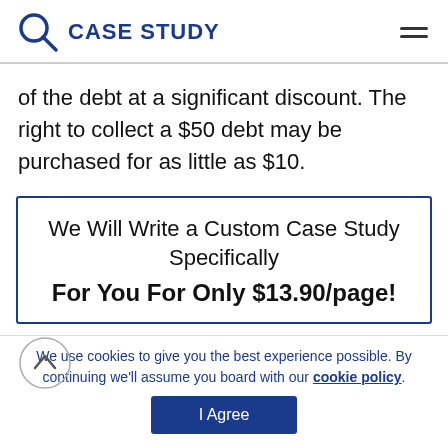CASE STUDY
of the debt at a significant discount. The right to collect a $50 debt may be purchased for as little as $10.
We Will Write a Custom Case Study Specifically For You For Only $13.90/page!
We use cookies to give you the best experience possible. By continuing we'll assume you board with our cookie policy.
I Agree